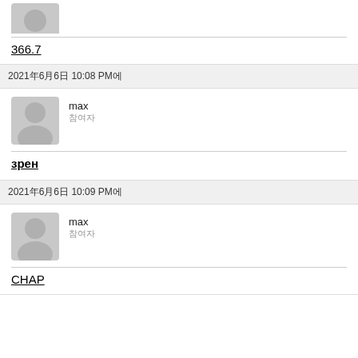[Figure (illustration): Partial user avatar (grey silhouette) at top of page, cropped]
366.7
2021年6月6日 10:08 PM에
[Figure (illustration): User avatar grey silhouette for user max]
max
참여자
зрен
2021年6月6日 10:09 PM에
[Figure (illustration): User avatar grey silhouette for user max]
max
참여자
CHAP